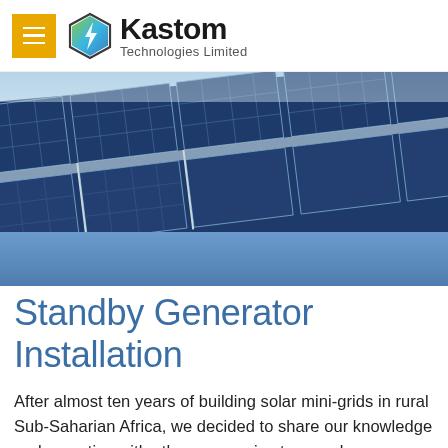Kastom Technologies Limited
[Figure (photo): Aerial view of blue solar panel array installed on rooftop frames, photographed at an angle showing grid pattern of photovoltaic cells with metal mounting rails.]
Standby Generator Installation
After almost ten years of building solar mini-grids in rural Sub-Saharian Africa, we decided to share our knowledge and expertise with other companies to speed up universal energy access and maximize our impact on local economic development.